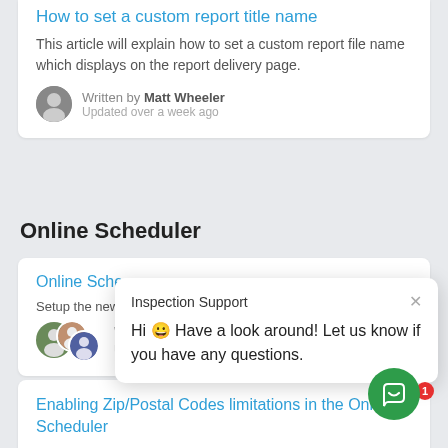How to set a custom report title name
This article will explain how to set a custom report file name which displays on the report delivery page.
Written by Matt Wheeler
Updated over a week ago
Online Scheduler
Online Sche...
Setup the new...
Updated over a week ago
Inspection Support
Hi 😀 Have a look around! Let us know if you have any questions.
Enabling Zip/Postal Codes limitations in the Online Scheduler